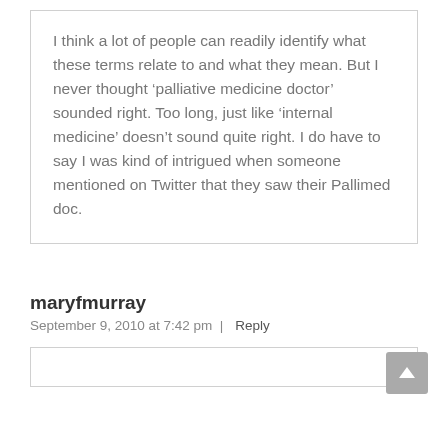I think a lot of people can readily identify what these terms relate to and what they mean. But I never thought ‘palliative medicine doctor’ sounded right. Too long, just like ‘internal medicine’ doesn’t sound quite right. I do have to say I was kind of intrigued when someone mentioned on Twitter that they saw their Pallimed doc.
maryfmurray
September 9, 2010 at 7:42 pm | Reply